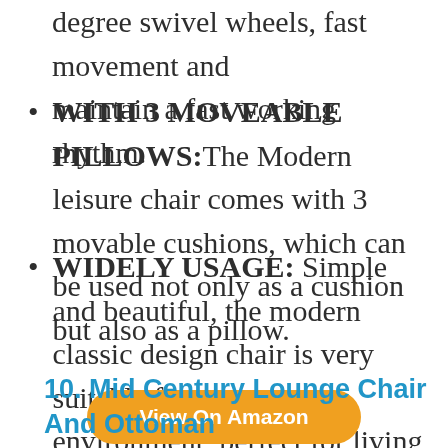degree swivel wheels, fast movement and maintain a fast working rhythm.
WITH 3 MOVEABLE PILLOWS: The Modern leisure chair comes with 3 movable cushions, which can be used not only as a cushion but also as a pillow.
WIDELY USAGE: Simple and beautiful, the modern classic design chair is very suitable for every environment, perfect for living room, bedroom, office, reception area, dorm, bedroom lounge or your personal theater chair, providing much needed comfort.
View On Amazon
10. Mid Century Lounge Chair And Ottoman